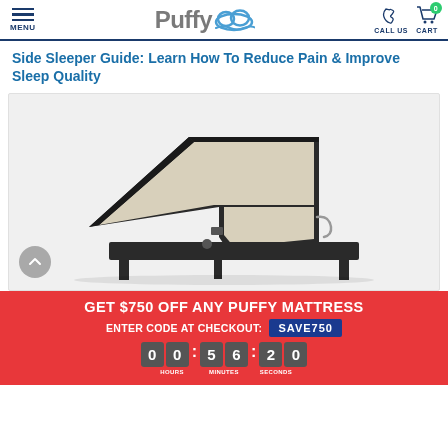Puffy — MENU | CALL US | CART 0
Side Sleeper Guide: Learn How To Reduce Pain & Improve Sleep Quality
[Figure (photo): Adjustable bed base/mattress shown in reclined position against a light grey background, with dark charcoal frame and cream-colored mattress surface.]
GET $750 OFF ANY PUFFY MATTRESS
ENTER CODE AT CHECKOUT: SAVE750
00:56:20 HOURS MINUTES SECONDS